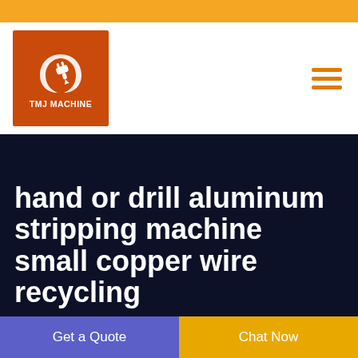[Figure (logo): TMJ Machine logo - orange/red square with white plug icon and crescent, text TMJ MACHINE]
hand or drill aluminum stripping machine small copper wire recycling
Get a Quote
Chat Now